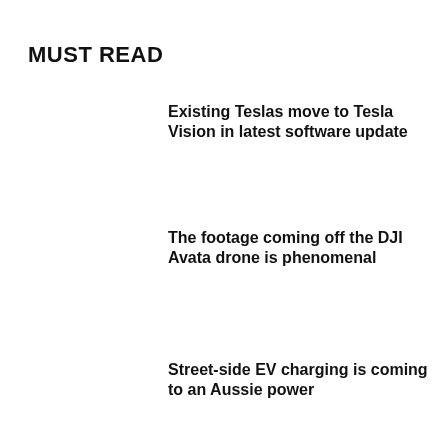MUST READ
Existing Teslas move to Tesla Vision in latest software update
The footage coming off the DJI Avata drone is phenomenal
Street-side EV charging is coming to an Aussie power